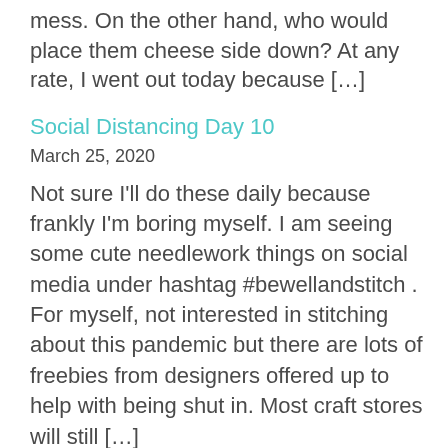mess. On the other hand, who would place them cheese side down? At any rate, I went out today because […]
Social Distancing Day 10
March 25, 2020
Not sure I'll do these daily because frankly I'm boring myself. I am seeing some cute needlework things on social media under hashtag #bewellandstitch . For myself, not interested in stitching about this pandemic but there are lots of freebies from designers offered up to help with being shut in. Most craft stores will still […]